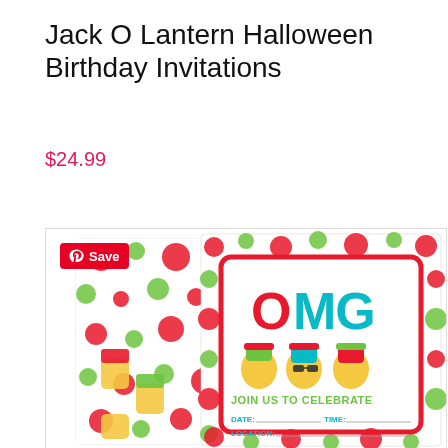Jack O Lantern Halloween Birthday Invitations
$24.99
[Figure (photo): Product photo showing two birthday invitation cards with colorful polka dot border featuring emoji-style jack o lantern faces wearing winter hats, with 'OMG' text and 'JOIN US TO CELEBRATE' and fill-in fields for DATE, TIME, LOCATION. A red Pinterest Save button overlays the top-left corner of the image.]